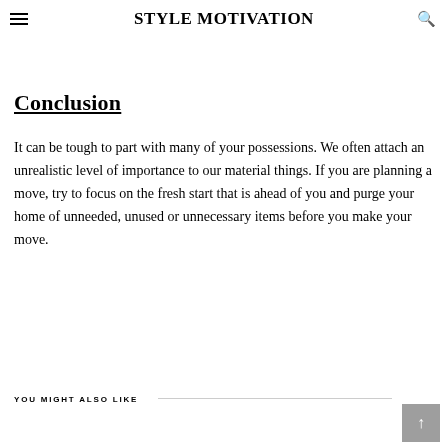STYLE MOTIVATION
luck at selling them for a small profit. You can even donate some furniture to charity if it is in decent shape to families that are in need.
Conclusion
It can be tough to part with many of your possessions. We often attach an unrealistic level of importance to our material things. If you are planning a move, try to focus on the fresh start that is ahead of you and purge your home of unneeded, unused or unnecessary items before you make your move.
YOU MIGHT ALSO LIKE